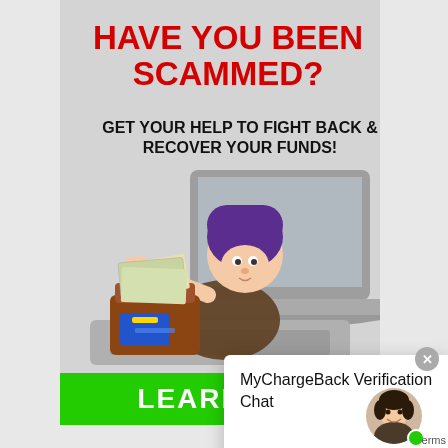HAVE YOU BEEN SCAMMED?
GET YOUR HELP TO FIGHT BACK & RECOVER YOUR FUNDS!
[Figure (illustration): Cartoon illustration of a masked thief in a purple balaclava reaching out from a laptop screen, stealing money from a wallet/box containing cash and credit cards]
LEARN MORE
MyChargeBack Verification Chat
[Figure (photo): Avatar photo of a smiling woman with short dark hair, with a green online indicator dot]